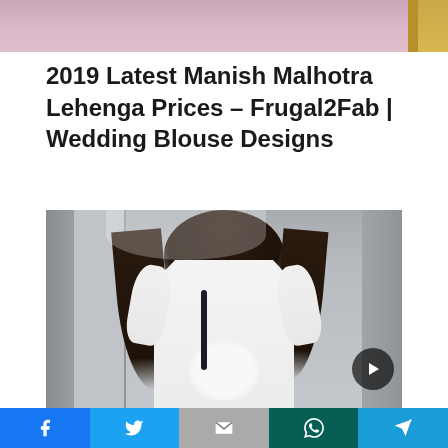[Figure (photo): Top portion of a pink/rose colored dress or lehenga, partially cropped at the top of the page]
2019 Latest Manish Malhotra Lehenga Prices – Frugal2Fab | Wedding Blouse Designs
[Figure (photo): A woman in a white long-sleeve wedding dress with ruched bodice holding a white floral bouquet, standing near a door/window. A dark circular play button with a triangle arrow is overlaid in the bottom right corner.]
Social share buttons: Facebook, Twitter, Gmail/Mail, WhatsApp, Share